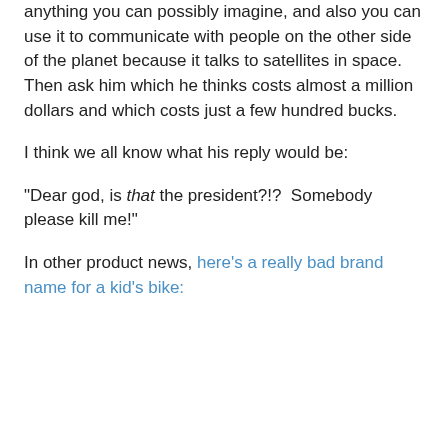anything you can possibly imagine, and also you can use it to communicate with people on the other side of the planet because it talks to satellites in space.  Then ask him which he thinks costs almost a million dollars and which costs just a few hundred bucks.
I think we all know what his reply would be:
"Dear god, is that the president?!?  Somebody please kill me!"
In other product news, here's a really bad brand name for a kid's bike: